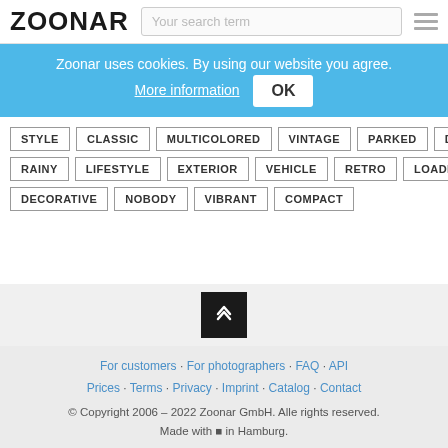ZOONAR
Zoonar uses cookies. By using our website you agree. More information  OK
STYLE
CLASSIC
MULTICOLORED
VINTAGE
PARKED
DECORATED
RAINY
LIFESTYLE
EXTERIOR
VEHICLE
RETRO
LOADED
DECORATIVE
NOBODY
VIBRANT
COMPACT
For customers · For photographers · FAQ · API  Prices · Terms · Privacy · Imprint · Catalog · Contact  © Copyright 2006 – 2022 Zoonar GmbH. Alle rights reserved. Made with ♥ in Hamburg.